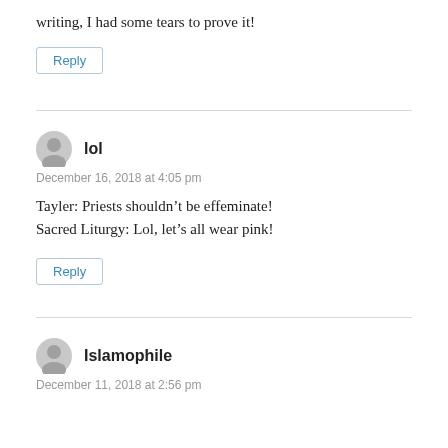writing, I had some tears to prove it!
Reply
lol
December 16, 2018 at 4:05 pm
Tayler: Priests shouldn’t be effeminate! Sacred Liturgy: Lol, let’s all wear pink!
Reply
Islamophile
December 11, 2018 at 2:56 pm